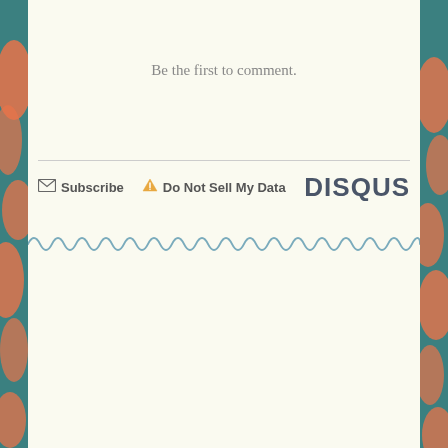Be the first to comment.
Subscribe   Do Not Sell My Data   DISQUS
[Figure (illustration): Decorative squiggly/wavy line pattern running horizontally across the page]